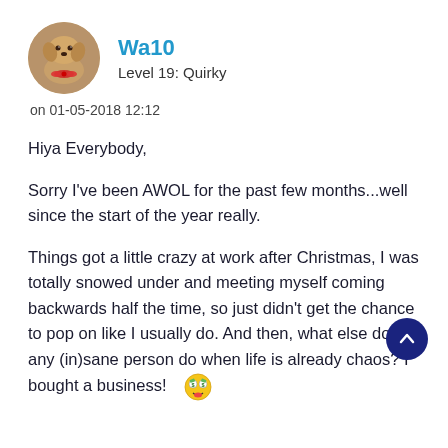[Figure (photo): Circular avatar photo of a golden retriever puppy with a red bow/toy]
Wa10
Level 19: Quirky
on 01-05-2018 12:12
Hiya Everybody,
Sorry I've been AWOL for the past few months...well since the start of the year really.
Things got a little crazy at work after Christmas, I was totally snowed under and meeting myself coming backwards half the time, so just didn't get the chance to pop on like I usually do. And then, what else does any (in)sane person do when life is already chaos? I bought a business!